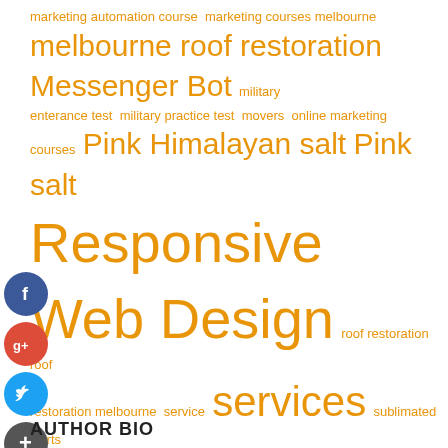marketing automation course marketing courses melbourne melbourne roof restoration Messenger Bot military enterance test military practice test movers online marketing courses Pink Himalayan salt Pink salt Responsive Web Design roof restoration roof restoration melbourne service services sublimated shirts sublimation t shirt design Ticketing tree removal web design web design company web design services Website Designer Near Me
[Figure (other): Social media sharing icons: Facebook (blue circle with f), Google+ (red circle with g+), Twitter (blue circle with bird), Add/Share (dark circle with +)]
AUTHOR BIO